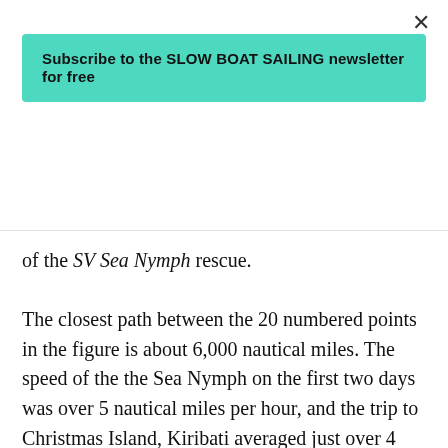×
Subscribe to the SLOW BOAT SAILING newsletter for free
of the SV Sea Nymph rescue.
The closest path between the 20 numbered points in the figure is about 6,000 nautical miles. The speed of the the Sea Nymph on the first two days was over 5 nautical miles per hour, and the trip to Christmas Island, Kiribati averaged just over 4 nautical miles per hour. From May 17, 2017, to June 10, 2017, the boat's reported speed fell to about 2 nautical miles per hour. Between June 10, 2017, and the VHF radio contact with Wake Island on October 1, 2017,